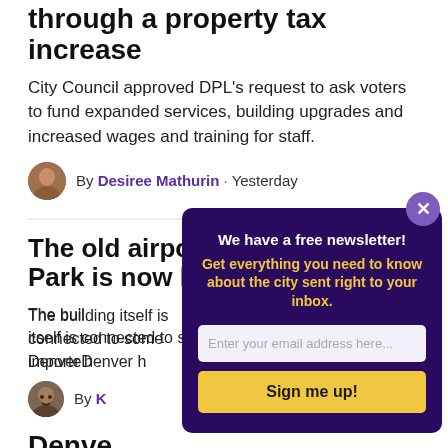through a property tax increase
City Council approved DPL's request to ask voters to fund expanded services, building upgrades and increased wages and training for staff.
By Desiree Mathurin · Yesterday
The old airport tower in Central Park is now home to a brewery
The building itself is connected to some imports Denver h...
By K...
Denve... leave, progra...
By goin... provide...
[Figure (screenshot): Newsletter signup modal overlay with dark purple background. Shows text 'We have a free newsletter! Get everything you need to know about the city sent right to your inbox.' with an email input field and 'Sign me up!' yellow button. A purple close X button appears in top right corner.]